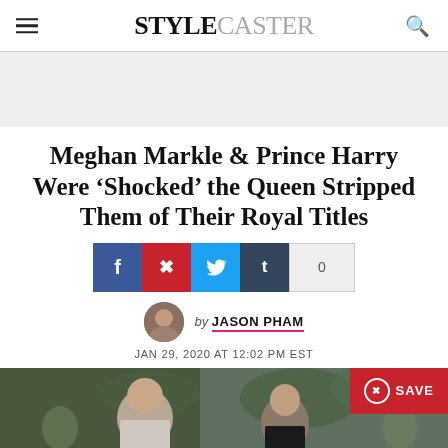STYLECASTER
Meghan Markle & Prince Harry Were 'Shocked' the Queen Stripped Them of Their Royal Titles
by JASON PHAM
JAN 29, 2020 AT 12:02 PM EST
[Figure (photo): Photo of Prince Harry and Meghan Markle outdoors with a Save button overlay]